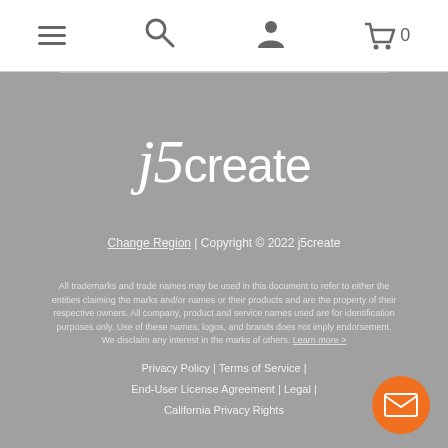Navigation bar with menu, search, account, and cart (0) icons
[Figure (logo): j5create logo in white on grey background]
Change Region | Copyright © 2022 j5create
All trademarks and trade names may be used in this document to refer to either the entities claiming the marks and/or names or their products and are the property of their respective owners. All company, product and service names used are for identification purposes only. Use of these names, logos, and brands does not imply endorsement. We disclaim any interest in the marks of others. Learn more >
Privacy Policy | Terms of Service | End-User License Agreement | Legal | California Privacy Rights